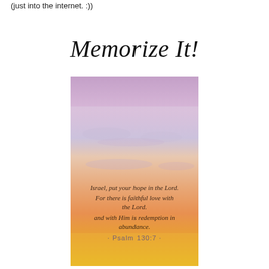(just into the internet. :))
Memorize It!
[Figure (photo): Sunset sky with pink, purple, and golden tones with script text overlay reading: 'Israel, put your hope in the Lord. For there is faithful love with the Lord. and with Him is redemption in abundance. - Psalm 130:7 -']